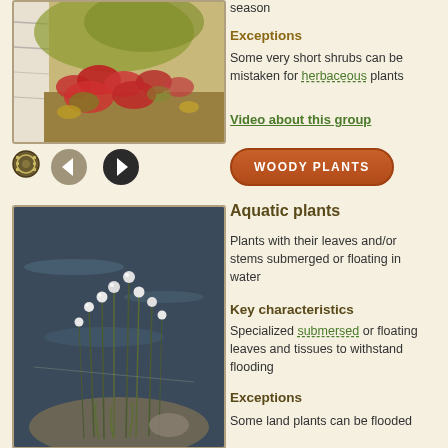[Figure (photo): Photo of red and green plants with birch bark visible in background]
season
Exceptions
Some very short shrubs can be mistaken for herbaceous plants
Video about this group
WOODY PLANTS
[Figure (photo): Photo of aquatic plants with round white flower heads on tall thin stems growing in shallow water]
Aquatic plants
Plants with their leaves and/or stems submerged or floating in water
Key characteristics
Specialized submersed or floating leaves and tissues to withstand flooding
Exceptions
Some land plants can be flooded